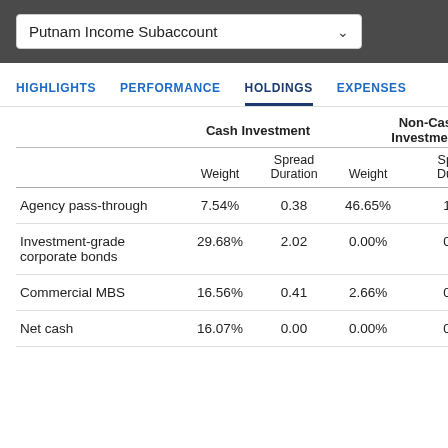Putnam Income Subaccount
HIGHLIGHTS  PERFORMANCE  HOLDINGS  EXPENSES
|  | Cash Investment Weight | Cash Investment Spread Duration | Non-Cash Investment Weight | Non-Cash Investment Spread Duration |
| --- | --- | --- | --- | --- |
| Agency pass-through | 7.54% | 0.38 | 46.65% | 1.7 |
| Investment-grade corporate bonds | 29.68% | 2.02 | 0.00% | 0.0 |
| Commercial MBS | 16.56% | 0.41 | 2.66% | 0.0 |
| Net cash | 16.07% | 0.00 | 0.00% | 0.0 |